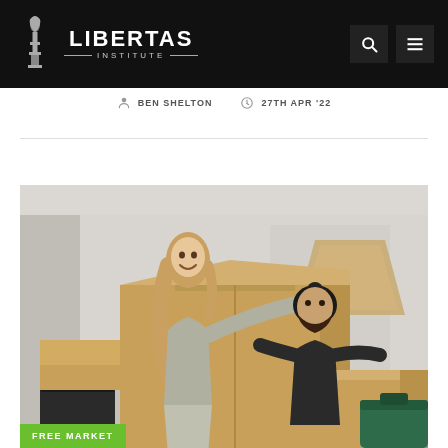LIBERTAS INSTITUTE
BEN SHELTON   27TH APR '22
[Figure (photo): Two people moving boxes in a room; a woman with curly hair on the left smiling at a bearded man on the right, both handling a large cardboard moving box; a lamp and other boxes visible in the background; a green suitcase in the lower right.]
FREE MARKET